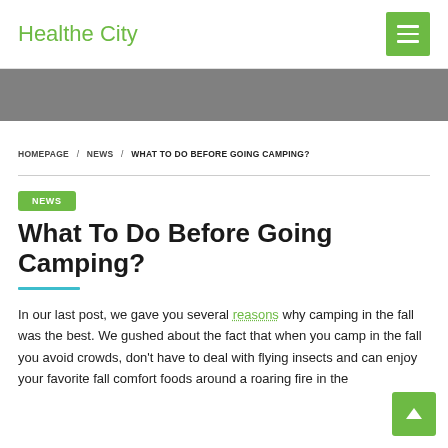Healthe City
[Figure (other): Gray banner image strip]
HOMEPAGE / NEWS / WHAT TO DO BEFORE GOING CAMPING?
NEWS
What To Do Before Going Camping?
In our last post, we gave you several reasons why camping in the fall was the best. We gushed about the fact that when you camp in the fall you avoid crowds, don't have to deal with flying insects and can enjoy your favorite fall comfort foods around a roaring fire in the